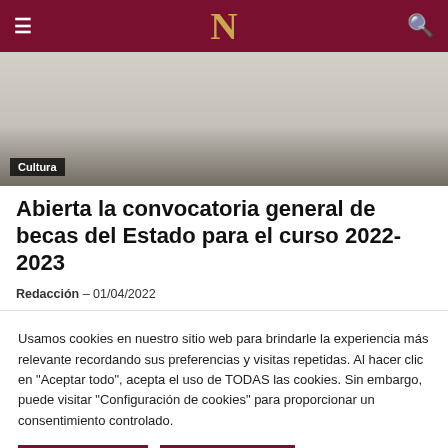N
[Figure (photo): Classroom scene viewed from behind showing students at desks with laptops. Tag: Cultura]
Abierta la convocatoria general de becas del Estado para el curso 2022-2023
Redacción – 01/04/2022
Usamos cookies en nuestro sitio web para brindarle la experiencia más relevante recordando sus preferencias y visitas repetidas. Al hacer clic en "Aceptar todo", acepta el uso de TODAS las cookies. Sin embargo, puede visitar "Configuración de cookies" para proporcionar un consentimiento controlado.
Configurar | Aceptar todo